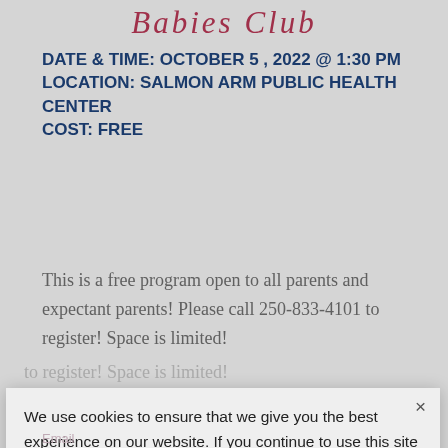Babies Club
DATE & TIME: OCTOBER 5, 2022 @ 1:30 PM
LOCATION: SALMON ARM PUBLIC HEALTH CENTER
COST: FREE
This is a free program open to all parents and expectant parents! Please call 250-833-4101 to register! Space is limited!
We use cookies to ensure that we give you the best experience on our website. If you continue to use this site we will assume that you are happy with it.